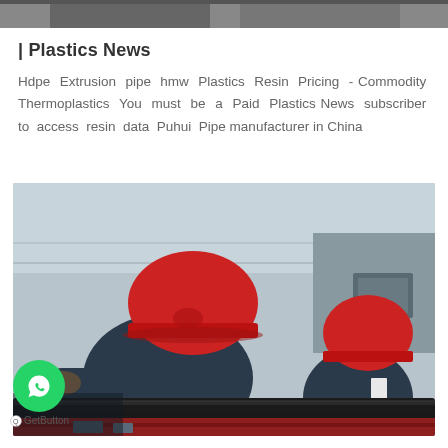[Figure (photo): Partial top strip showing cropped images from a previous page, dark/grey background with silhouettes]
| Plastics News
Hdpe Extrusion pipe hmw Plastics Resin Pricing - Commodity Thermoplastics You must be a Paid Plastics News subscriber to access resin data Puhui Pipe manufacturer in China
[Figure (photo): Two workers wearing red hard hats and dark blue uniforms working on black HDPE pipes in a factory/manufacturing setting. One worker is bent over the pipe in the foreground, another is in the background on the right.]
GetButton